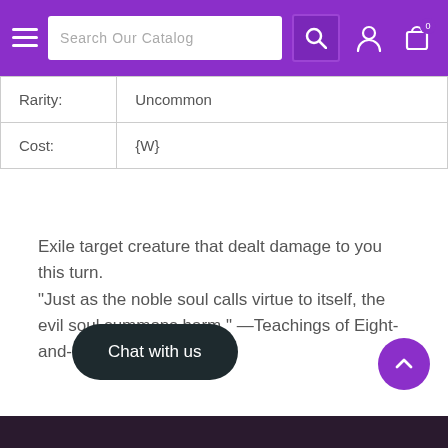Search Our Catalog
| Rarity: | Cost: |
| --- | --- |
| Rarity: | Uncommon |
| Cost: | {W} |
Exile target creature that dealt damage to you this turn.
"Just as the noble soul calls virtue to itself, the evil soul summons harm." —Teachings of Eight-and-a-Half-Tails